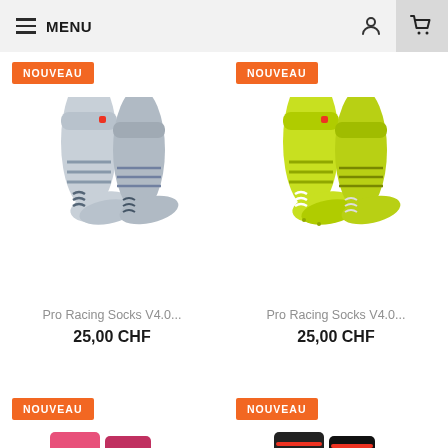MENU
NOUVEAU
[Figure (photo): Grey Pro Racing socks pair]
NOUVEAU
[Figure (photo): Yellow-green Pro Racing socks pair]
Pro Racing Socks V4.0...
25,00 CHF
Pro Racing Socks V4.0...
25,00 CHF
NOUVEAU
[Figure (photo): Pink socks partially visible at bottom]
NOUVEAU
[Figure (photo): Black socks partially visible at bottom]